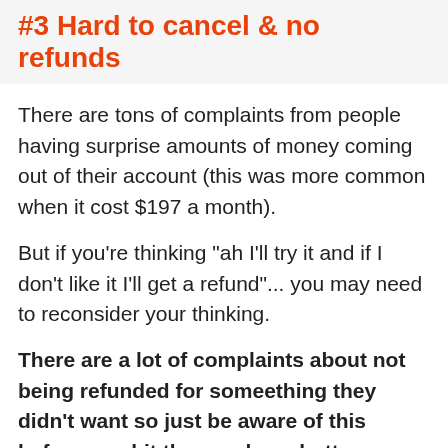#3 Hard to cancel & no refunds
There are tons of complaints from people having surprise amounts of money coming out of their account (this was more common when it cost $197 a month).
But if you're thinking "ah I'll try it and if I don't like it I'll get a refund"... you may need to reconsider your thinking.
There are a lot of complaints about not being refunded for someething they didn't want so just be aware of this before you hit the purchase button.
#4 Lacks depth in content